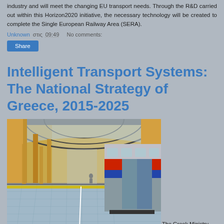industry and will meet the changing EU transport needs. Through the R&D carried out within this Horizon2020 initiative, the necessary technology will be created to complete the Single European Railway Area (SERA).
Unknown στις 09:49    No comments:
Share
Intelligent Transport Systems: The National Strategy of Greece, 2015-2025
[Figure (photo): A railway station platform with a yellow-and-arched glass roof, a red and blue train on the right track, blue-tiled floor with yellow line markings.]
The Greek Ministry